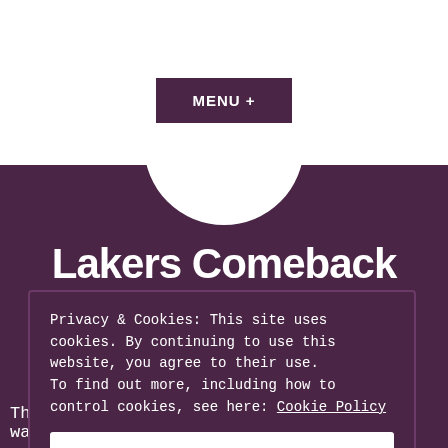MENU +
Lakers Comeback
Privacy & Cookies: This site uses cookies. By continuing to use this website, you agree to their use. To find out more, including how to control cookies, see here: Cookie Policy
Close and accept
The San Antonio Spurs were having their way with